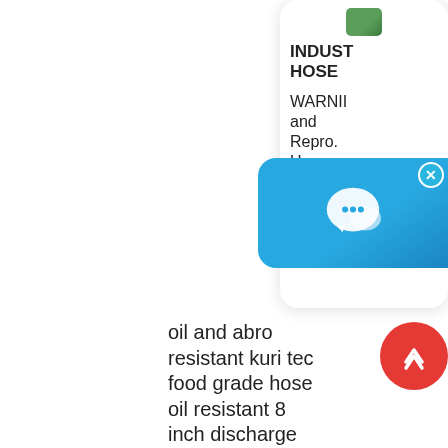[Figure (illustration): Product thumbnail - green hose product image at top of card]
INDUST HOSE
WARNII and Repro. Han tex 800.23 texceli 800.23
oil and abro resistant kuri tec food grade hose oil resistant 8 inch discharge